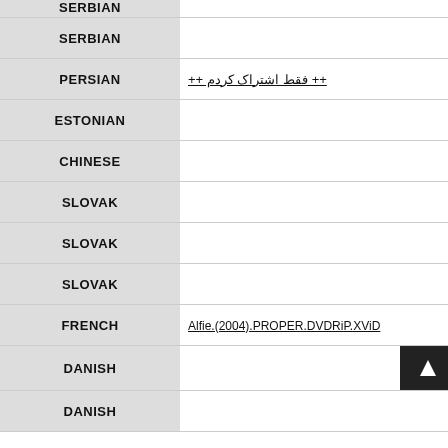| Language | Content |
| --- | --- |
| SERBIAN |  |
| SERBIAN |  |
| PERSIAN | ++ فقط اشتراک کردم ++ |
| ESTONIAN |  |
| CHINESE |  |
| SLOVAK |  |
| SLOVAK |  |
| SLOVAK |  |
| FRENCH | Alfie.(2004).PROPER.DVDRiP.XViD |
| DANISH |  |
| DANISH |  |